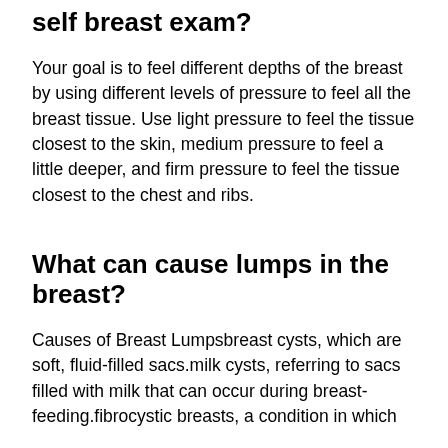self breast exam?
Your goal is to feel different depths of the breast by using different levels of pressure to feel all the breast tissue. Use light pressure to feel the tissue closest to the skin, medium pressure to feel a little deeper, and firm pressure to feel the tissue closest to the chest and ribs.
What can cause lumps in the breast?
Causes of Breast Lumpsbreast cysts, which are soft, fluid-filled sacs.milk cysts, referring to sacs filled with milk that can occur during breast-feeding.fibrocystic breasts, a condition in which